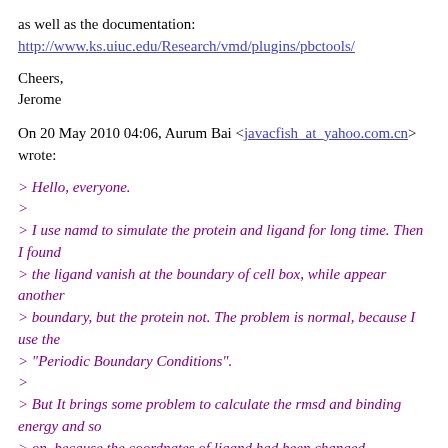as well as the documentation:
http://www.ks.uiuc.edu/Research/vmd/plugins/pbctools/
Cheers,
Jerome
On 20 May 2010 04:06, Aurum Bai <javacfish_at_yahoo.com.cn> wrote:
> Hello, everyone.
>
> I use namd to simulate the protein and ligand for long time. Then I found
> the ligand vanish at the boundary of cell box, while appear another
> boundary, but the protein not. The problem is normal, because I use the
> "Periodic Boundary Conditions".
>
> But It brings some problem to calculate the rmsd and binding energy and so
> on, because the coordnates of ligand had been changed.
>
> How do I deal with this problem, and calculate the rmsd correctly?